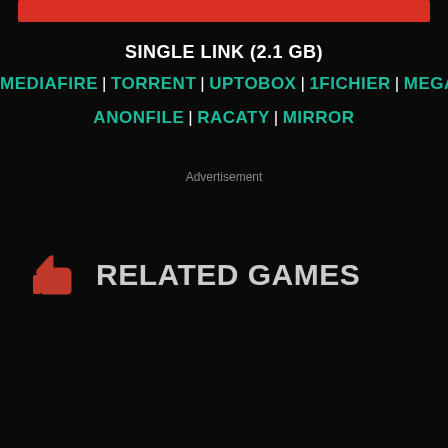[Figure (illustration): Red horizontal bar at top of page]
SINGLE LINK (2.1 GB)
MEDIAFIRE | TORRENT | UPTOBOX | 1FICHIER | MEGAUP | ANONFILE | RACATY | MIRROR
Advertisement
RELATED GAMES